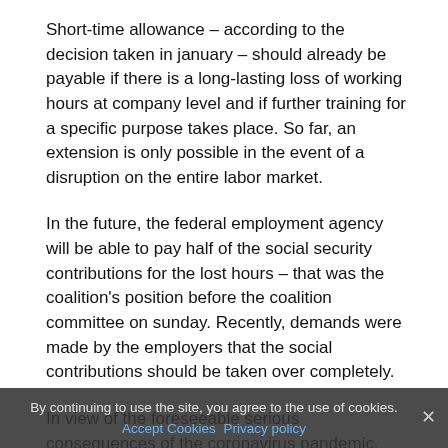Short-time allowance – according to the decision taken in january – should already be payable if there is a long-lasting loss of working hours at company level and if further training for a specific purpose takes place. So far, an extension is only possible in the event of a disruption on the entire labor market.
In the future, the federal employment agency will be able to pay half of the social security contributions for the lost hours – that was the coalition's position before the coalition committee on sunday. Recently, demands were made by the employers that the social contributions should be taken over completely.
In view of the foreseeable serious consequences of the coronavirus pandemic, employers had urged that the plan for short-time work be implemented quickly. The metalworking employers had also demanded that the federal employment agency assume the full costs of short-time work from the first day. They warned of sales slumps, plant closures and
By continuing to use the site, you agree to the use of cookies. Accept Cookies Privacy policy ×